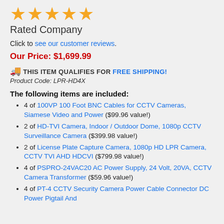[Figure (other): Five gold stars rating]
Rated Company
Click to see our customer reviews.
Our Price: $1,699.99
🚚 THIS ITEM QUALIFIES FOR FREE SHIPPING!
Product Code: LPR-HD4X
The following items are included:
4 of 100VP 100 Foot BNC Cables for CCTV Cameras, Siamese Video and Power ($99.96 value!)
2 of HD-TVI Camera, Indoor / Outdoor Dome, 1080p CCTV Surveillance Camera ($399.98 value!)
2 of License Plate Capture Camera, 1080p HD LPR Camera, CCTV TVI AHD HDCVI ($799.98 value!)
4 of PSPRO-24VAC20 AC Power Supply, 24 Volt, 20VA, CCTV Camera Transformer ($59.96 value!)
4 of PT-4 CCTV Security Camera Power Cable Connector DC Power Pigtail And... ($7.16 value!)